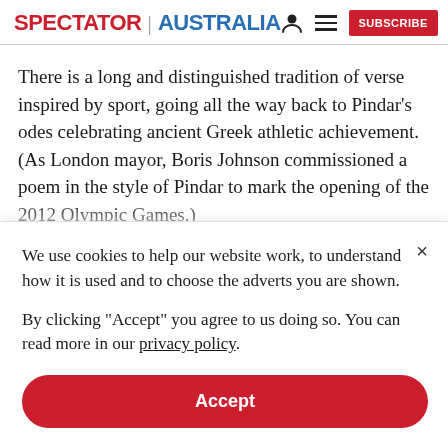SPECTATOR | AUSTRALIA
There is a long and distinguished tradition of verse inspired by sport, going all the way back to Pindar's odes celebrating ancient Greek athletic achievement. (As London mayor, Boris Johnson commissioned a poem in the style of Pindar to mark the opening of the 2012 Olympic Games.)
We use cookies to help our website work, to understand how it is used and to choose the adverts you are shown.
By clicking "Accept" you agree to us doing so. You can read more in our privacy policy.